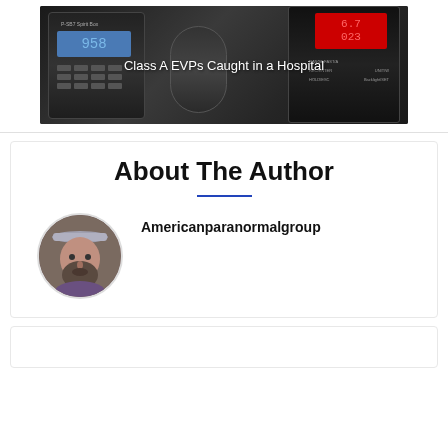[Figure (photo): Photo of ghost hunting / paranormal investigation electronic devices (P-SB7 Spirit Box and other recorders) on a dark background with white text overlay reading 'Class A EVPs Caught in a Hospital']
Class A EVPs Caught in a Hospital
About The Author
[Figure (photo): Circular cropped avatar photo of a bearded man wearing a cap, used as author profile picture]
Americanparanormalgroup